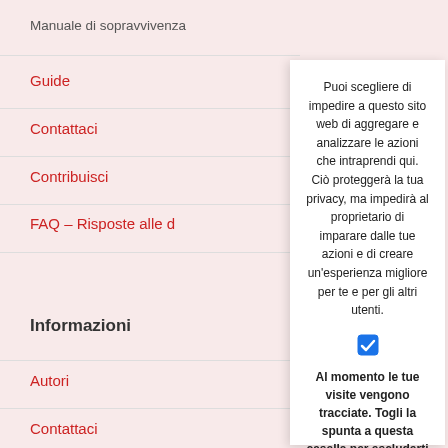Manuale di sopravvivenza
Guide
Contattaci
Contribuisci
FAQ – Risposte alle d
Informazioni
Autori
Contattaci
Puoi scegliere di impedire a questo sito web di aggregare e analizzare le azioni che intraprendi qui. Ciò proteggerà la tua privacy, ma impedirà al proprietario di imparare dalle tue azioni e di creare un'esperienza migliore per te e per gli altri utenti.
Al momento le tue visite vengono tracciate. Togli la spunta a questa casella per escluderti (opt-out).
This opt out feature requires JavaScript.